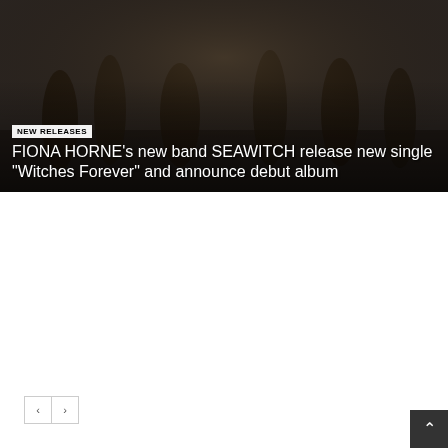[Figure (photo): Hero image of a band (SEAWITCH) with dark moody outdoor background, musicians in dark clothing]
NEW RELEASES
FIONA HORNE’s new band SEAWITCH release new single “Witches Forever” and announce debut album
[Figure (other): Navigation previous/next buttons (< and >) for a content carousel]
[Figure (infographic): Web Hosting advertisement banner with blue background, Linux Tux penguin, Windows logo, price from $2, white clouds at bottom]